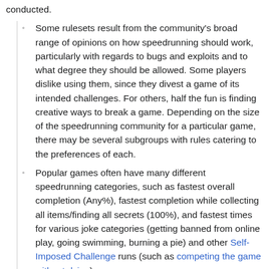conducted.
Some rulesets result from the community's broad range of opinions on how speedrunning should work, particularly with regards to bugs and exploits and to what degree they should be allowed. Some players dislike using them, since they divest a game of its intended challenges. For others, half the fun is finding creative ways to break a game. Depending on the size of the speedrunning community for a particular game, there may be several subgroups with rules catering to the preferences of each.
Popular games often have many different speedrunning categories, such as fastest overall completion (Any%), fastest completion while collecting all items/finding all secrets (100%), and fastest times for various joke categories (getting banned from online play, going swimming, burning a pie) and other Self-Imposed Challenge runs (such as competing the game without dying).